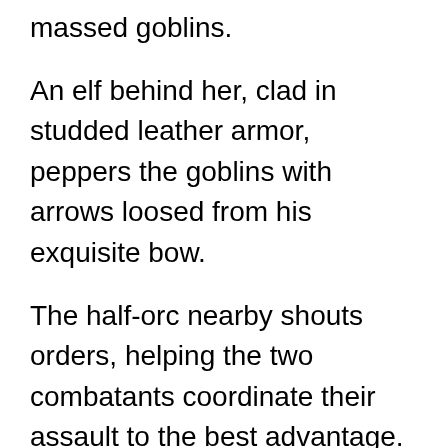massed goblins.
An elf behind her, clad in studded leather armor, peppers the goblins with arrows loosed from his exquisite bow.
The half-orc nearby shouts orders, helping the two combatants coordinate their assault to the best advantage.
A dwarf in chain mail interposes his shield between the ogre’s club and his companion, knocking the deadly blow aside.
His companion, a half-elf in scale armor swings...